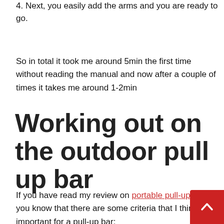4. Next, you easily add the arms and you are ready to go.
So in total it took me around 5min the first time without reading the manual and now after a couple of times it takes me around 1-2min
Working out on the outdoor pull up bar
If you have read my review on portable pull-up bars you know that there are some criteria that I think important for a pull-up bar: